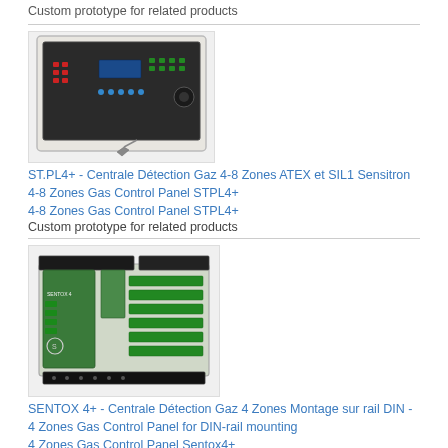Custom prototype for related products
[Figure (photo): Control panel device ST.PL4+ - Centrale Détection Gaz, a white rectangular enclosure with keypad and display]
ST.PL4+ - Centrale Détection Gaz 4-8 Zones ATEX et SIL1 Sensitron 4-8 Zones Gas Control Panel STPL4+
4-8 Zones Gas Control Panel STPL4+
Custom prototype for related products
[Figure (photo): SENTOX 4+ green DIN-rail mounted gas detection controller with terminal blocks and connectors]
SENTOX 4+ - Centrale Détection Gaz 4 Zones Montage sur rail DIN - 4 Zones Gas Control Panel for DIN-rail mounting
4 Zones Gas Control Panel Sentox4+
Custom prototype for related products